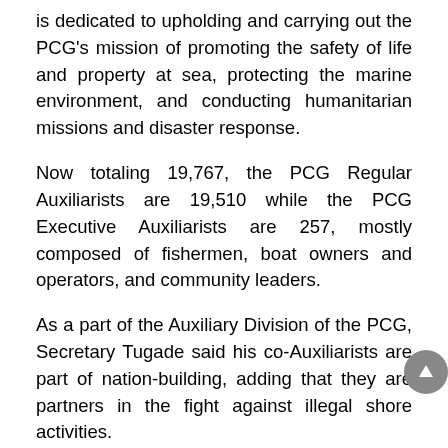is dedicated to upholding and carrying out the PCG's mission of promoting the safety of life and property at sea, protecting the marine environment, and conducting humanitarian missions and disaster response.
Now totaling 19,767, the PCG Regular Auxiliarists are 19,510 while the PCG Executive Auxiliarists are 257, mostly composed of fishermen, boat owners and operators, and community leaders.
As a part of the Auxiliary Division of the PCG, Secretary Tugade said his co-Auxiliarists are part of nation-building, adding that they are partners in the fight against illegal shore activities.
PCG Commandant, CG Admiral Artemio M Abu, on the other hand, said that with a strong workforce, the organization is now more capable of performing its maritime-related mandates and conducting disaster